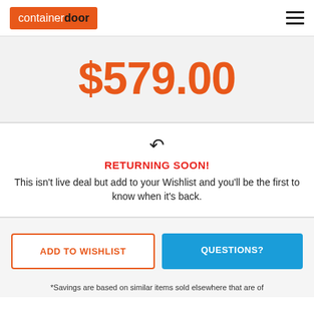containerdoor
$579.00
RETURNING SOON! This isn't live deal but add to your Wishlist and you'll be the first to know when it's back.
ADD TO WISHLIST
QUESTIONS?
*Savings are based on similar items sold elsewhere that are of